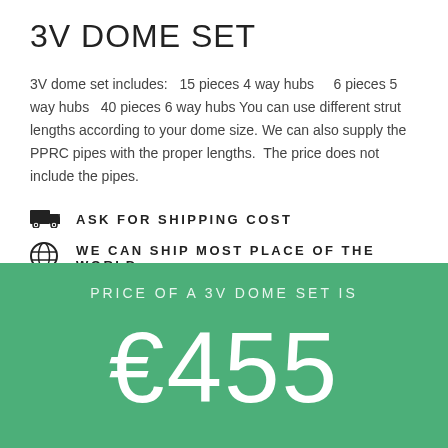3V DOME SET
3V dome set includes:   15 pieces 4 way hubs     6 pieces 5 way hubs   40 pieces 6 way hubs You can use different strut lengths according to your dome size. We can also supply the PPRC pipes with the proper lengths.  The price does not include the pipes.
ASK FOR SHIPPING COST
WE CAN SHIP MOST PLACE OF THE WORLD
PRICE OF A 3V DOME SET IS
€455